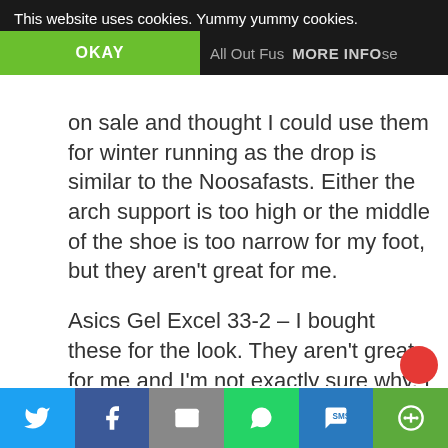This website uses cookies. Yummy yummy cookies.
OKAY
All Out Fus   MORE INFO
on sale and thought I could use them for winter running as the drop is similar to the Noosafasts. Either the arch support is too high or the middle of the shoe is too narrow for my foot, but they aren't great for me.
Asics Gel Excel 33-2 – I bought these for the look. They aren't great for me and I'm not exactly sure why. I can't put my finger on it. I really want to like running